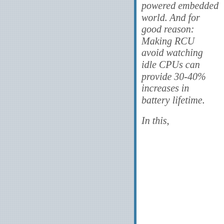[Figure (photo): Gray linen or fabric texture filling the left portion of the page]
powered embedded world. And for good reason: Making RCU avoid watching idle CPUs can provide 30-40% increases in battery lifetime.

In this,